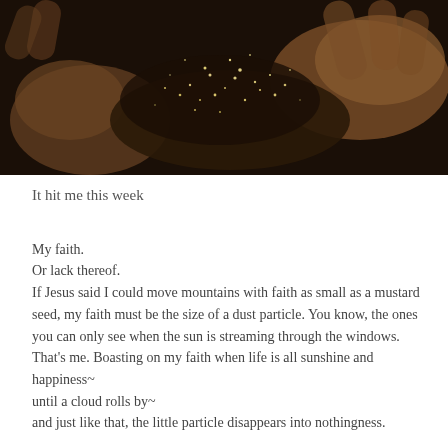[Figure (photo): Close-up photo of hands holding dark soil or sand with glittery particles, dark background with warm brown tones]
It hit me this week
My faith.
Or lack thereof.
If Jesus said I could move mountains with faith as small as a mustard seed, my faith must be the size of a dust particle. You know, the ones you can only see when the sun is streaming through the windows. That's me. Boasting on my faith when life is all sunshine and happiness~
until a cloud rolls by~
and just like that, the little particle disappears into nothingness.